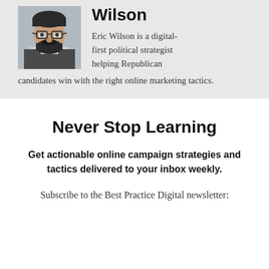[Figure (photo): Headshot photo of Eric Wilson, a bearded man wearing glasses and a dark jacket]
Wilson
Eric Wilson is a digital-first political strategist helping Republican candidates win with the right online marketing tactics.
Never Stop Learning
Get actionable online campaign strategies and tactics delivered to your inbox weekly.
Subscribe to the Best Practice Digital newsletter: